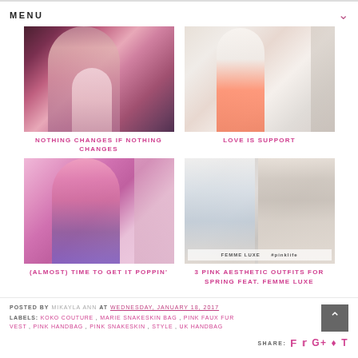MENU
[Figure (photo): Person wearing a metallic pink/rose gold jacket, fashion photo]
NOTHING CHANGES IF NOTHING CHANGES
[Figure (photo): Person wearing white top with coral/orange skirt, fashion photo]
LOVE IS SUPPORT
[Figure (photo): Person in pink top and purple skirt, fashion photo]
(ALMOST) TIME TO GET IT POPPIN'
[Figure (photo): 3 pink aesthetic outfits collage featuring Femme Luxe]
3 PINK AESTHETIC OUTFITS FOR SPRING FEAT. FEMME LUXE
POSTED BY MIKAYLA ANN AT WEDNESDAY, JANUARY 18, 2017
LABELS: KOKO COUTURE , MARIE SNAKESKIN BAG , PINK FAUX FUR VEST , PINK HANDBAG , PINK SNAKESKIN , STYLE , UK HANDBAG
SHARE: